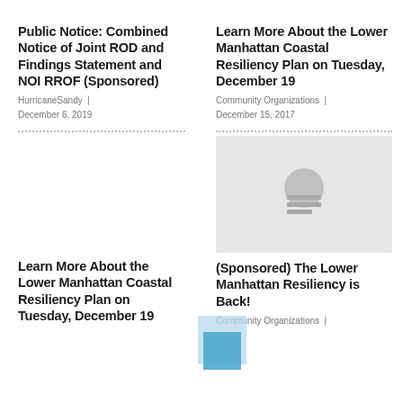Public Notice: Combined Notice of Joint ROD and Findings Statement and NOI RROF (Sponsored)
HurricaneSandy | December 6, 2019
Learn More About the Lower Manhattan Coastal Resiliency Plan on Tuesday, December 19
Community Organizations | December 15, 2017
Learn More About the Lower Manhattan Coastal Resiliency Plan on Tuesday, December 19
(Sponsored) The Lower Manhattan Resiliency is Back!
Community Organizations |